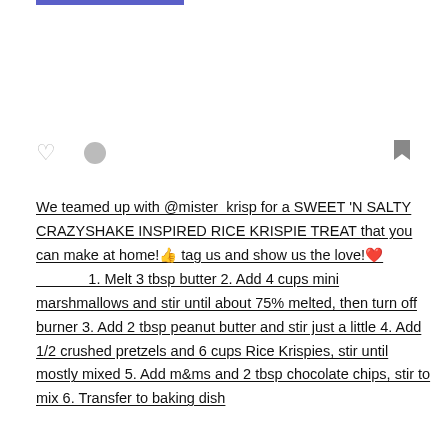[Figure (other): Top purple/indigo bar UI element at the top of a social media post card]
[Figure (other): Social media post action icons row: heart outline, circle (comment/bubble), and bookmark icon]
We teamed up with @mister_krisp for a SWEET 'N SALTY CRAZYSHAKE INSPIRED RICE KRISPIE TREAT that you can make at home!👍 tag us and show us the love!❤️ ____________ 1. Melt 3 tbsp butter 2. Add 4 cups mini marshmallows and stir until about 75% melted, then turn off burner 3. Add 2 tbsp peanut butter and stir just a little 4. Add 1/2 crushed pretzels and 6 cups Rice Krispies, stir until mostly mixed 5. Add m&ms and 2 tbsp chocolate chips, stir to mix 6. Transfer to baking dish